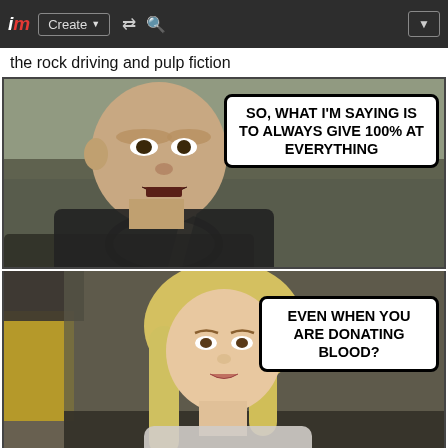im Create ▼ [shuffle] [search] [dropdown]
the rock driving and pulp fiction
[Figure (photo): Two-panel meme. Top panel: man (The Rock) driving a car, with speech bubble reading 'SO, WHAT I'M SAYING IS TO ALWAYS GIVE 100% AT EVERYTHING'. Bottom panel: blonde woman in passenger seat with speech bubble reading 'EVEN WHEN YOU ARE DONATING BLOOD?']